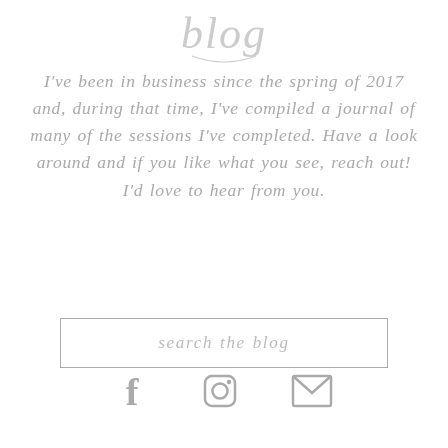[Figure (illustration): Cursive/script logo text reading 'blog' in light gray]
I've been in business since the spring of 2017 and, during that time, I've compiled a journal of many of the sessions I've completed. Have a look around and if you like what you see, reach out! I'd love to hear from you.
search the blog
[Figure (other): Three social media icons: Facebook (f), Instagram (camera), and email (envelope) in light gray]